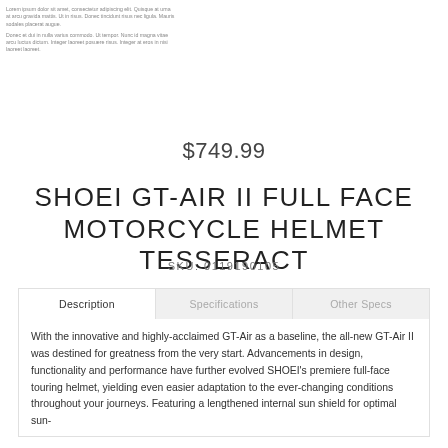Lorem ipsum dolor sit amet, consectetur adipiscing elit. Quisque at urna at arcu gravida mattis. Ut in risus. Donec tincidunt risus nec ligula. Mauris sodales placerat augue.
Donec et dui in nulla varius commodo. Ut tempor. Nunc id magna vitae arcu luctus dictum. Integer laoreet posuere risus. Integer at eros in nisi laoreet laoreet.
$749.99
SHOEI GT-AIR II FULL FACE MOTORCYCLE HELMET TESSERACT
SKU: 0119190105
Description | Specifications | Other Specs
With the innovative and highly-acclaimed GT-Air as a baseline, the all-new GT-Air II was destined for greatness from the very start. Advancements in design, functionality and performance have further evolved SHOEI's premiere full-face touring helmet, yielding even easier adaptation to the ever-changing conditions throughout your journeys. Featuring a lengthened internal sun shield for optimal sun-